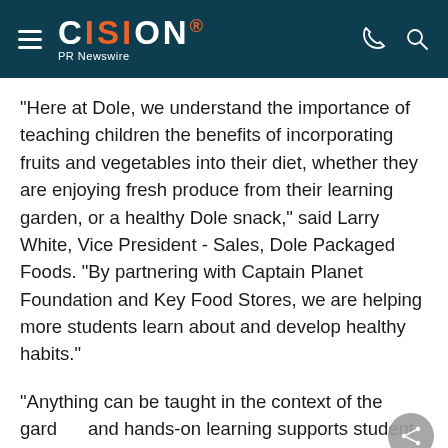CISION PR Newswire
"Here at Dole, we understand the importance of teaching children the benefits of incorporating fruits and vegetables into their diet, whether they are enjoying fresh produce from their learning garden, or a healthy Dole snack," said Larry White, Vice President - Sales, Dole Packaged Foods. "By partnering with Captain Planet Foundation and Key Food Stores, we are helping more students learn about and develop healthy habits."
"Anything can be taught in the context of the garden, and hands-on learning supports student